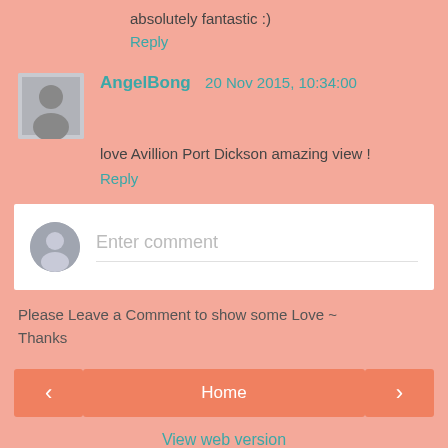absolutely fantastic :)
Reply
AngelBong  20 Nov 2015, 10:34:00
love Avillion Port Dickson amazing view !
Reply
Enter comment
Please Leave a Comment to show some Love ~ Thanks
Home
View web version
Powered by Blogger.